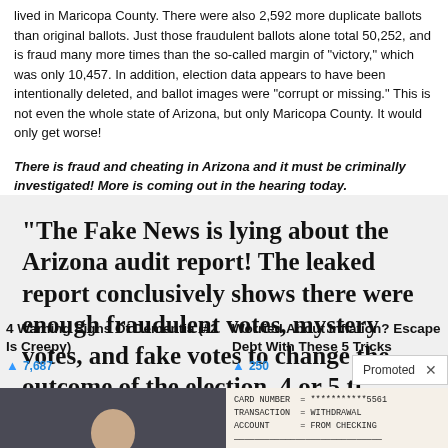lived in Maricopa County. There were also 2,592 more duplicate ballots than original ballots. Just those fraudulent ballots alone total 50,252, and is fraud many more times than the so-called margin of "victory," which was only 10,457. In addition, election data appears to have been intentionally deleted, and ballot images were "corrupt or missing." This is not even the whole state of Arizona, but only Maricopa County. It would only get worse!
There is fraud and cheating in Arizona and it must be criminally investigated! More is coming out in the hearing today.
“The Fake News is lying about the Arizona audit report! The leaked report conclusively shows there were enough fraudulent votes, mystery votes, and fake votes to change the outcome of the election, 4 or 5 ti…
[Figure (photo): Person sitting on edge of bed, appearing elderly or unwell, in a dim room]
4 Warning Signs Of Dementia (#2 Is Creepy)
🔥 7,687
[Figure (photo): ATM receipt showing transaction details: CARD NUMBER ************5561, TRANSACTION = WITHDRAWAL, ACCOUNT = FROM CHECKING, DISPENSED AMOUNT = $100.00, REQUESTED AMOUNT = $100.00, SURCHARGE AMOUNT = $1.50, TOTAL AMOUNT = $101.50, LEDGER BALANCE = $423,923.00]
Worried About Inflation? Escape Debt With These 5 Tricks
🔥 250